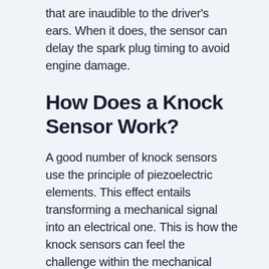that are inaudible to the driver's ears. When it does, the sensor can delay the spark plug timing to avoid engine damage.
How Does a Knock Sensor Work?
A good number of knock sensors use the principle of piezoelectric elements. This effect entails transforming a mechanical signal into an electrical one. This is how the knock sensors can feel the challenge within the mechanical parts of the engine block. The block runs on the difference in fluid pressure and quantity, vibration, and